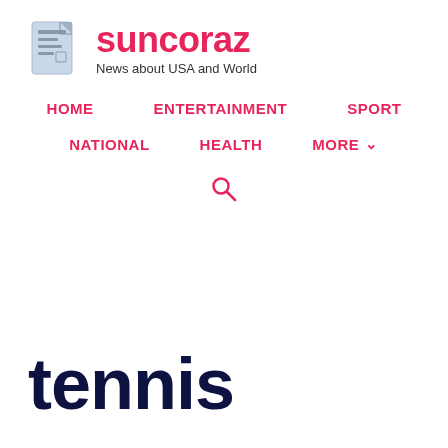[Figure (logo): Suncoraz news website logo with newspaper icon, site name 'suncoraz' in pink, and tagline 'News about USA and World']
HOME   ENTERTAINMENT   SPORT
NATIONAL   HEALTH   MORE ▾
[Figure (other): Pink search (magnifying glass) icon]
tennis